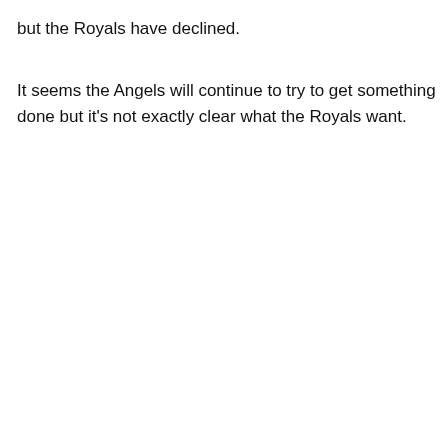but the Royals have declined.
It seems the Angels will continue to try to get something done but it's not exactly clear what the Royals want.